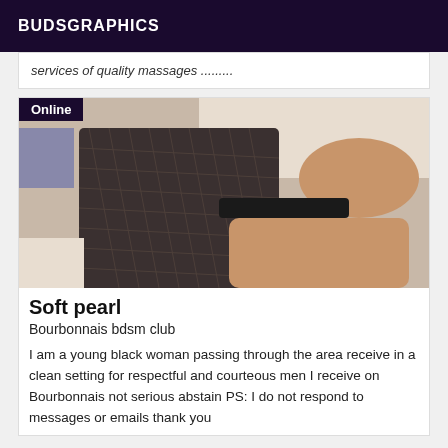BUDSGRAPHICS
services of quality massages .........
[Figure (photo): Photo of a person in fishnet stockings and black lingerie, posed against a white wall, with an 'Online' badge overlay in the top-left corner and a small thumbnail image below it.]
Soft pearl
Bourbonnais bdsm club
I am a young black woman passing through the area receive in a clean setting for respectful and courteous men I receive on Bourbonnais not serious abstain PS: I do not respond to messages or emails thank you